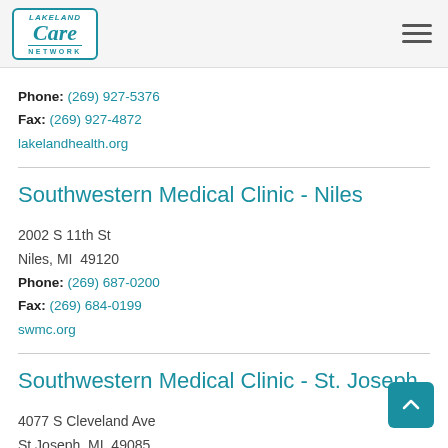Lakeland Care Network
Phone: (269) 927-5376
Fax: (269) 927-4872
lakelandhealth.org
Southwestern Medical Clinic - Niles
2002 S 11th St
Niles, MI  49120
Phone: (269) 687-0200
Fax: (269) 684-0199
swmc.org
Southwestern Medical Clinic - St. Joseph
4077 S Cleveland Ave
St Joseph, MI  49085
Phone: (269) 408-0000